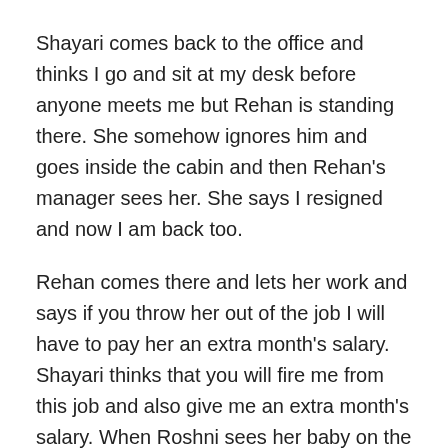Shayari comes back to the office and thinks I go and sit at my desk before anyone meets me but Rehan is standing there. She somehow ignores him and goes inside the cabin and then Rehan's manager sees her. She says I resigned and now I am back too.
Rehan comes there and lets her work and says if you throw her out of the job I will have to pay her an extra month's salary. Shayari thinks that you will fire me from this job and also give me an extra month's salary. When Roshni sees her baby on the screen, he finds Aman strange and goes back to the doctor's cabin. He looks at the monitor with the baby and thinks why am I looking at it? When Roshni called Aman, he